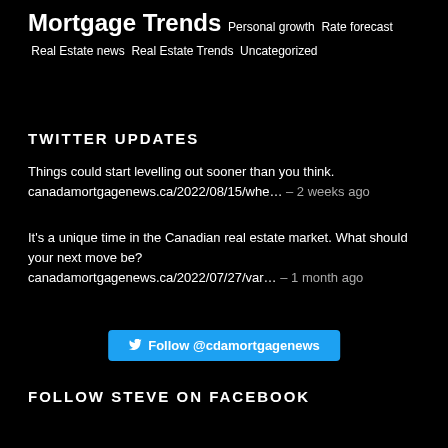Mortgage Trends  Personal growth  Rate forecast  Real Estate news  Real Estate Trends  Uncategorized
TWITTER UPDATES
Things could start levelling out sooner than you think. canadamortgagenews.ca/2022/08/15/whe…– 2 weeks ago
It's a unique time in the Canadian real estate market. What should your next move be? canadamortgagenews.ca/2022/07/27/var…– 1 month ago
Follow @cdamortgagenews
FOLLOW STEVE ON FACEBOOK